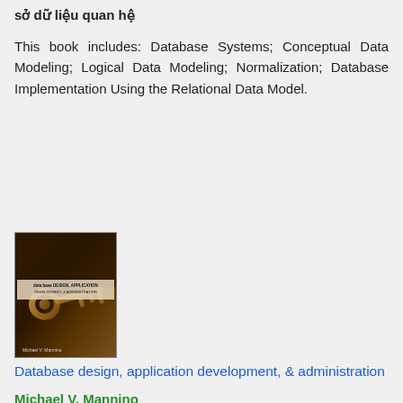sở dữ liệu quan hệ
This book includes: Database Systems; Conceptual Data Modeling; Logical Data Modeling; Normalization; Database Implementation Using the Relational Data Model.
[Figure (photo): Book cover for 'Database design, application development, & administration' by Michael V. Mannino, featuring a key image on a dark background]
Database design, application development, & administration
Michael V. Mannino